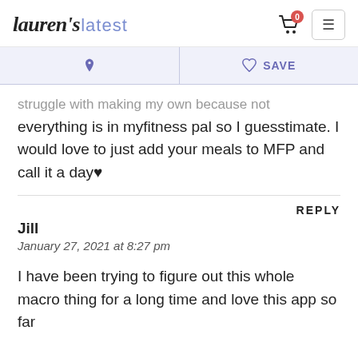lauren's latest
♙  ♡ SAVE
struggle with making my own because not everything is in myfitness pal so I guesstimate. I would love to just add your meals to MFP and call it a day♥
REPLY
Jill
January 27, 2021 at 8:27 pm
I have been trying to figure out this whole macro thing for a long time and love this app so far...